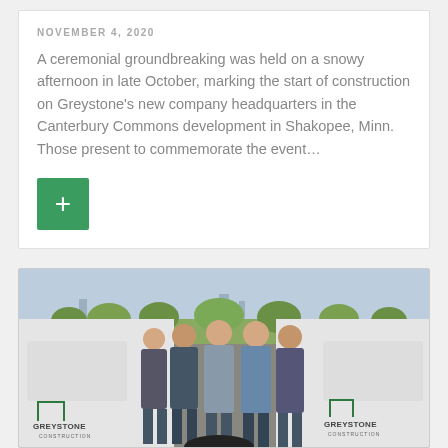NOVEMBER 4, 2020
A ceremonial groundbreaking was held on a snowy afternoon in late October, marking the start of construction on Greystone's new company headquarters in the Canterbury Commons development in Shakopee, Minn. Those present to commemorate the event…
[Figure (photo): Group photo of five men in business casual attire standing in front of two white Greystone Construction pickup trucks, with trees and a parking lot in the background.]